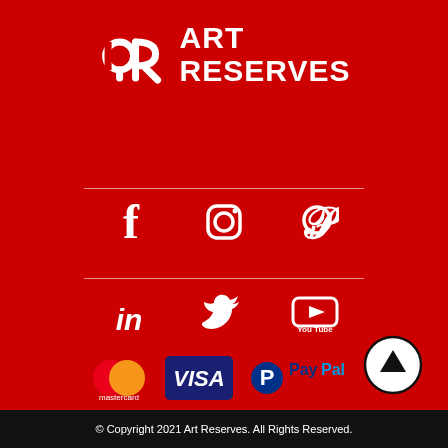[Figure (logo): Art Reserves logo with stylized 'ar' icon and text 'ART RESERVES' in white on red background]
[Figure (infographic): Social media icons: Facebook, Instagram, Pinterest (top row); LinkedIn, Twitter, YouTube (bottom row); separated by horizontal white lines]
[Figure (infographic): Payment method logos: Mastercard, Visa, PayPal]
[Figure (other): Scroll-to-top button: circle with upward arrow]
© Copyright 2021 Art Reserves. All Rights Reserved.